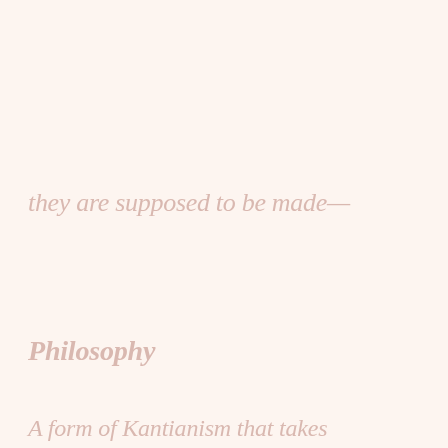they are supposed to be made—
Philosophy
A form of Kantianism that takes
the elements of our mirrors
seriously, but tells a
relation to see their own